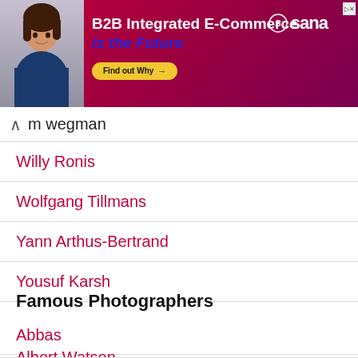[Figure (photo): Advertisement banner for Sana B2B Integrated E-Commerce with woman smiling and red/pink gradient background. Text: B2B Integrated E-Commerce is the Future. Find out Why button.]
m wegman
Willy Ronis
Wolfgang Tillmans
Yann Arthus-Bertrand
Yousuf Karsh
Famous Photographers
Abbas
Albert Watson